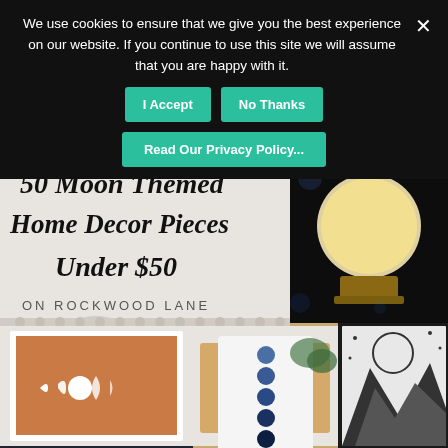We use cookies to ensure that we give you the best experience on our website. If you continue to use this site we will assume that you are happy with it.
I Accept
No Thanks
Read Our Privacy Policy...
[Figure (photo): Website screenshot showing a cookie consent banner over a lifestyle blog post about '50 Moon Themed Home Decor Pieces Under $50 on Rockwood Lane', with a collage of moon-themed home decor products including moon phase wall art, a moon lamp, a full moon print, a moon phase rug, and a moon tapestry.]